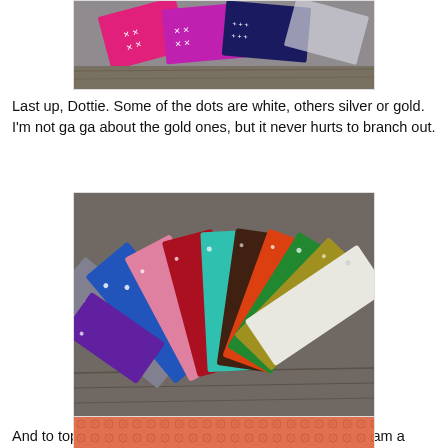[Figure (photo): Folded fabric swatches with cross/plus patterns in pink, magenta, and navy blue colors fanned out on a wooden surface]
Last up, Dottie. Some of the dots are white, others silver or gold. I'm not ga ga about the gold ones, but it never hurts to branch out.
[Figure (photo): Colorful polka dot fabric swatches fanned out in a half-circle on a wooden surface, showing many colors including blue, red, green, teal, purple, yellow, white, and gray with small white or silver dots]
And to top it all off, 30+ of the 40 pieces have selvage. I am a junkie. I accept that moniker. It is what it is.
[Figure (photo): Close-up of orange/coral fabric with a small geometric diamond or lattice pattern, with part of a circular label or button visible at the bottom]